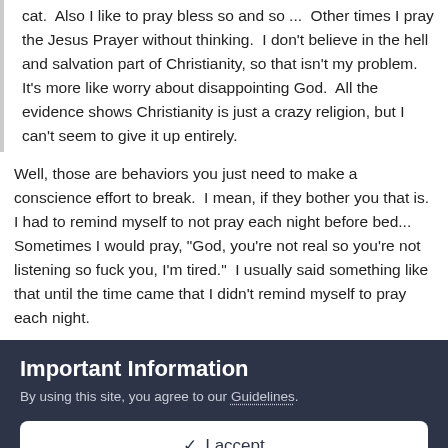cat.  Also I like to pray bless so and so ...  Other times I pray the Jesus Prayer without thinking.  I don't believe in the hell and salvation part of Christianity, so that isn't my problem.  It's more like worry about disappointing God.  All the evidence shows Christianity is just a crazy religion, but I can't seem to give it up entirely.
Well, those are behaviors you just need to make a conscience effort to break.  I mean, if they bother you that is.  I had to remind myself to not pray each night before bed... Sometimes I would pray, "God, you're not real so you're not listening so fuck you, I'm tired."  I usually said something like that until the time came that I didn't remind myself to pray each night.
Important Information
By using this site, you agree to our Guidelines.
✓  I accept